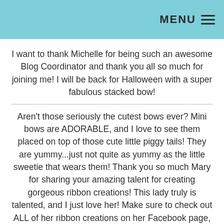MENU ☰
I want to thank Michelle for being such an awesome Blog Coordinator and thank you all so much for joining me! I will be back for Halloween with a super fabulous stacked bow!
Aren't those seriously the cutest bows ever? Mini bows are ADORABLE, and I love to see them placed on top of those cute little piggy tails! They are yummy...just not quite as yummy as the little sweetie that wears them! Thank you so much Mary for sharing your amazing talent for creating gorgeous ribbon creations! This lady truly is talented, and I just love her! Make sure to check out ALL of her ribbon creations on her Facebook page, Little Mama Bowtique!
Before having my little sweetie, I had no idea what I was missing out on with bows and ribbon galore! I had no idea how much fun it was to create bows to place them (or...